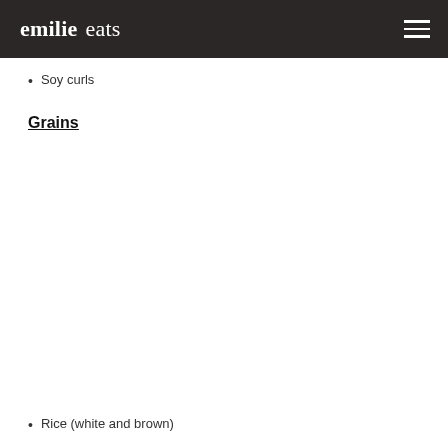emilie eats
Soy curls
Grains
Rice (white and brown)